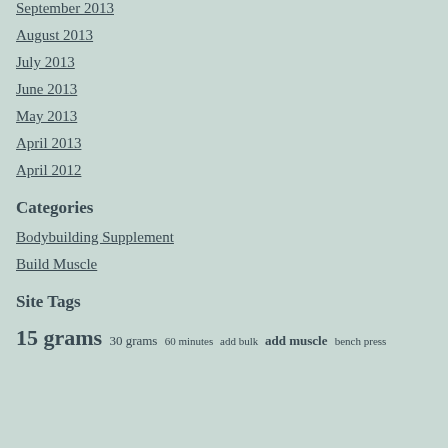September 2013
August 2013
July 2013
June 2013
May 2013
April 2013
April 2012
Categories
Bodybuilding Supplement
Build Muscle
Site Tags
15 grams  30 grams  60 minutes  add bulk  add muscle  bench press